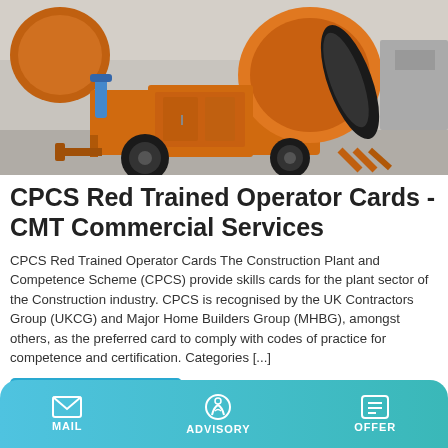[Figure (photo): Orange cement mixer / concrete mixer machine photographed outdoors on a concrete surface]
CPCS Red Trained Operator Cards - CMT Commercial Services
CPCS Red Trained Operator Cards The Construction Plant and Competence Scheme (CPCS) provide skills cards for the plant sector of the Construction industry. CPCS is recognised by the UK Contractors Group (UKCG) and Major Home Builders Group (MHBG), amongst others, as the preferred card to comply with codes of practice for competence and certification. Categories [...]
Learn More
MAIL   ADVISORY   OFFER